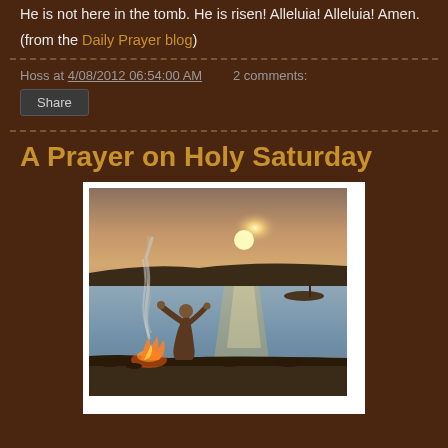He is not here in the tomb. He is risen! Alleluia! Alleluia! Amen.
(from the Daily Prayer blog)
Hoss at 4/08/2012 06:54:00 AM   2 comments:
Share
A Prayer on Holy Saturday
[Figure (photo): A painting of a figure standing by a fire on the shore, arms raised, with a glowing sunset reflected on the water and a boat in the distance.]